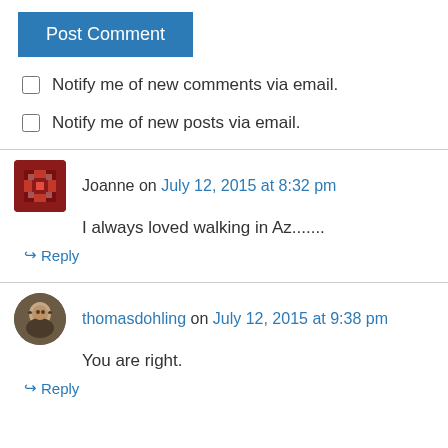Post Comment
Notify me of new comments via email.
Notify me of new posts via email.
Joanne on July 12, 2015 at 8:32 pm
I always loved walking in Az.......
Reply
thomasdohling on July 12, 2015 at 9:38 pm
You are right.
Reply